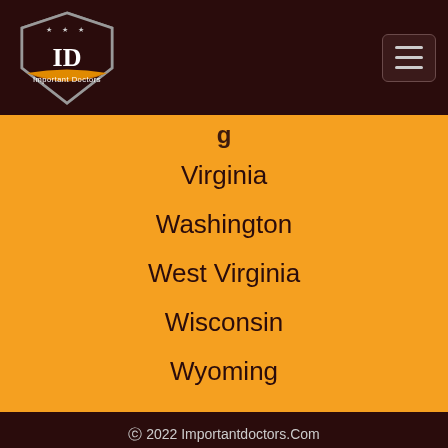[Figure (logo): Important Doctors shield logo with 'ID' text and banner reading 'Important Doctors']
Virginia
Washington
West Virginia
Wisconsin
Wyoming
© 2022 Importantdoctors.Com
Contact Us